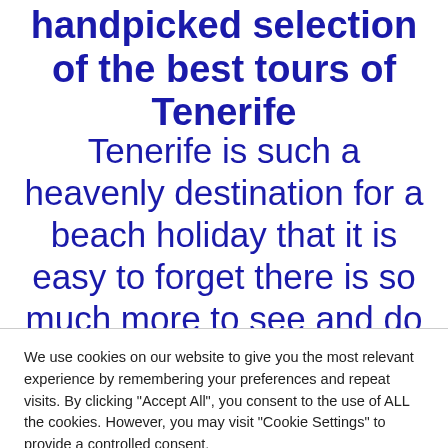handpicked selection of the best tours of Tenerife
Tenerife is such a heavenly destination for a beach holiday that it is easy to forget there is so much more to see and do while you are on this beautiful island. Our Tenerife
We use cookies on our website to give you the most relevant experience by remembering your preferences and repeat visits. By clicking "Accept All", you consent to the use of ALL the cookies. However, you may visit "Cookie Settings" to provide a controlled consent.